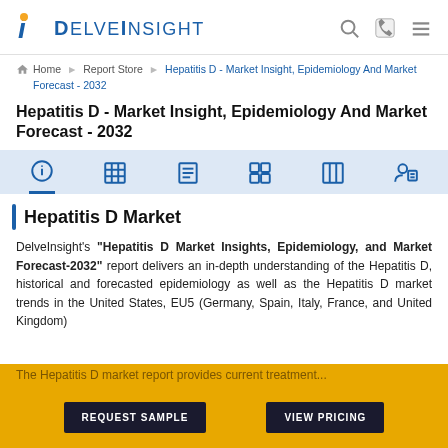[Figure (logo): DelveInsight logo with stylized 'i' and dot, blue text]
Home » Report Store » Hepatitis D - Market Insight, Epidemiology And Market Forecast - 2032
Hepatitis D - Market Insight, Epidemiology And Market Forecast - 2032
[Figure (infographic): Icon tab bar with 6 icons: info, table/grid, list, data grid, columns, person with note]
Hepatitis D Market
DelveInsight's "Hepatitis D Market Insights, Epidemiology, and Market Forecast-2032" report delivers an in-depth understanding of the Hepatitis D, historical and forecasted epidemiology as well as the Hepatitis D market trends in the United States, EU5 (Germany, Spain, Italy, France, and United Kingdom)
The Hepatitis D market report provides current treatment...
REQUEST SAMPLE    VIEW PRICING